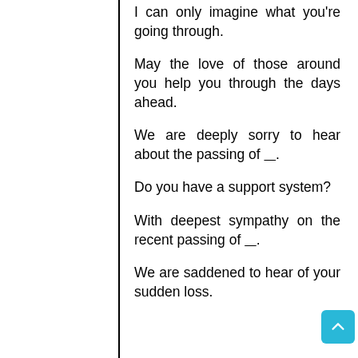I can only imagine what you're going through.
May the love of those around you help you through the days ahead.
We are deeply sorry to hear about the passing of ___.
Do you have a support system?
With deepest sympathy on the recent passing of ___.
We are saddened to hear of your sudden loss.